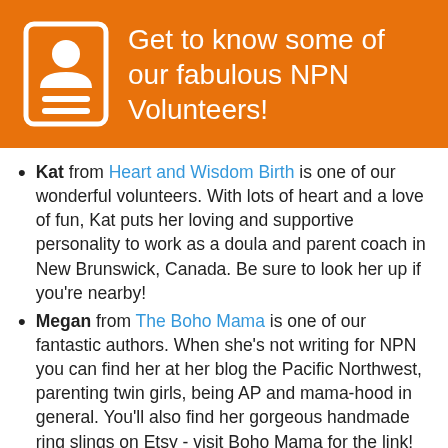[Figure (infographic): Orange banner header with a white person/contact card icon on the left and white text reading 'Get to know some of our fabulous NPN Volunteers!']
Kat from Heart and Wisdom Birth is one of our wonderful volunteers. With lots of heart and a love of fun, Kat puts her loving and supportive personality to work as a doula and parent coach in New Brunswick, Canada. Be sure to look her up if you're nearby!
Megan from The Boho Mama is one of our fantastic authors. When she's not writing for NPN you can find her at her blog the Pacific Northwest, parenting twin girls, being AP and mama-hood in general. You'll also find her gorgeous handmade ring slings on Etsy - visit Boho Mama for the link!
Vidya from VidyaSury helps spread the word about NPN as one of our Social Media volunteers. When she's not stumbling our posts she's working from home as a freelance author/blogger...